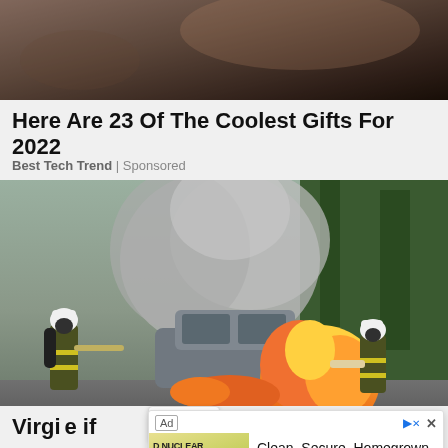[Figure (photo): Cropped top portion of a photo showing a dark background, likely a person's hand or clothing in shadow]
Here Are 23 Of The Coolest Gifts For 2022
Best Tech Trend | Sponsored
[Figure (photo): Two firefighters in full protective gear with breathing apparatus spraying water on a car engulfed in flames and thick smoke on a road]
Virgi... ...e if
[Figure (screenshot): Advertisement overlay: Nuclear energy ad showing 'D NUCLEAR FOR AMERICAN JOBS' banner image with tagline 'Clean. Secure. Homegrown.' and 'Build Nuclear Now' subtext, with an Open button]
Ad | Clean. Secure. Homegrown. | Build Nuclear Now | Open >